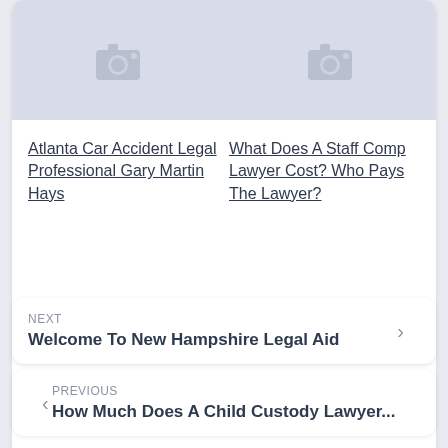[Figure (photo): Two image placeholder cards side by side with camera icons, light blue-gray background]
Atlanta Car Accident Legal Professional Gary Martin Hays
What Does A Staff Comp Lawyer Cost? Who Pays The Lawyer?
NEXT
Welcome To New Hampshire Legal Aid
PREVIOUS
How Much Does A Child Custody Lawyer...